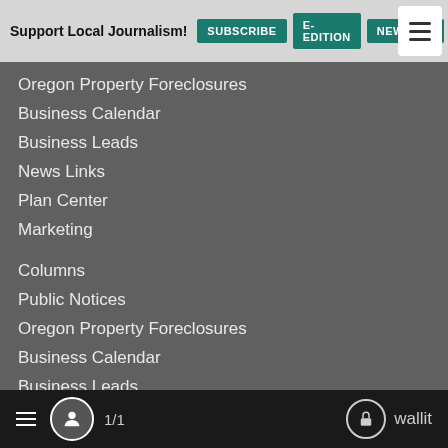Support Local Journalism! SUBSCRIBE E-EDITION NEWSLET
Oregon Property Foreclosures
Business Calendar
Business Leads
News Links
Plan Center
Marketing
Columns
Public Notices
Oregon Property Foreclosures
Business Calendar
Business Leads
News Links
Plan Center
Marketing
Contract Publishing
Printing and Distribution Services
≡ 👤 1/1 🔒 wallit